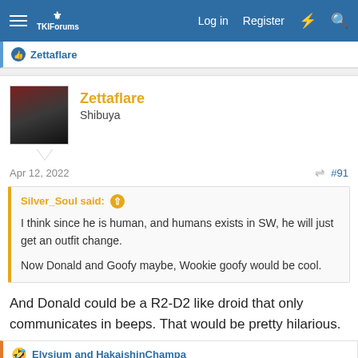TKIForums — Log in | Register
Zettaflare (reaction: liked)
Zettaflare
Shibuya
Apr 12, 2022 #91
Silver_Soul said: ↑

I think since he is human, and humans exists in SW, he will just get an outfit change.

Now Donald and Goofy maybe, Wookie goofy would be cool.
And Donald could be a R2-D2 like droid that only communicates in beeps. That would be pretty hilarious.
Elysium and HakaishinChampa